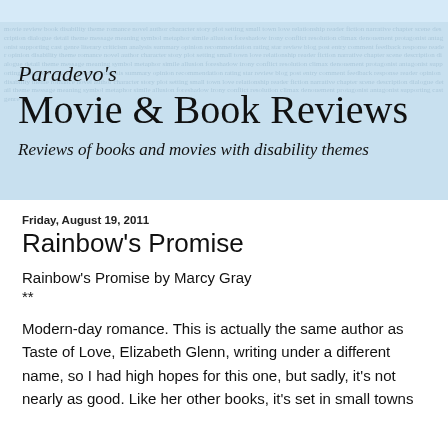[Figure (illustration): Banner header for Paradevo's Movie & Book Reviews blog. Light blue background with watermark text pattern. Contains italic script 'Paradevo's', large serif title 'Movie & Book Reviews', and italic subtitle 'Reviews of books and movies with disability themes'.]
Friday, August 19, 2011
Rainbow's Promise
Rainbow's Promise by Marcy Gray
**
Modern-day romance. This is actually the same author as Taste of Love, Elizabeth Glenn, writing under a different name, so I had high hopes for this one, but sadly, it's not nearly as good. Like her other books, it's set in small towns